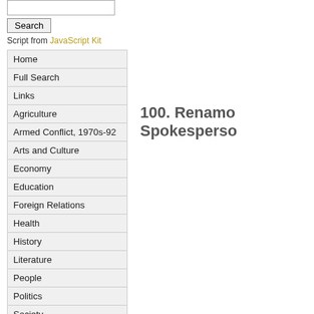Script from JavaScript Kit
Home
Full Search
Links
Agriculture
Armed Conflict, 1970s-92
Arts and Culture
Economy
Education
Foreign Relations
Health
History
Literature
People
Politics
Society
Serials
100. Renamo Spokesperso